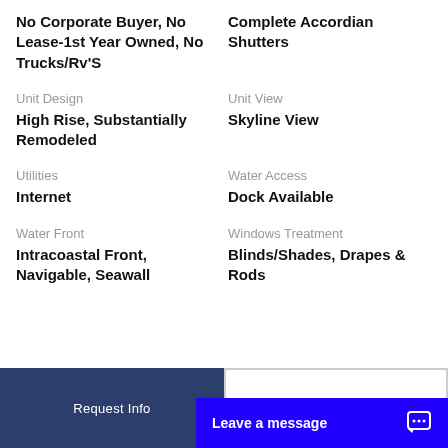No Corporate Buyer, No Lease-1st Year Owned, No Trucks/Rv'S
Complete Accordian Shutters
Unit Design
Unit View
High Rise, Substantially Remodeled
Skyline View
Utilities
Water Access
Internet
Dock Available
Water Front
Windows Treatment
Intracoastal Front, Navigable, Seawall
Blinds/Shades, Drapes & Rods
Request Info
Leave a message